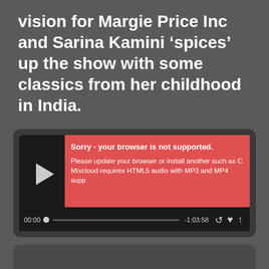vision for Margie Price Inc and Sarina Kamini ‘spices’ up the show with some classics from her childhood in India.
[Figure (screenshot): Mixcloud audio player widget showing a browser not supported error overlay in red. The player has a play button on the left, a red error box reading 'Sorry - your browser is not supported. Please update your browser or install another such as C... Mixcloud requires HTML5 audio with MP3 and MP4 supp...' Below is a progress bar showing 00:00 on the left and -1:03:58 on the right, with repost, like, and download icons.]
This week, Brian Middleton looks back